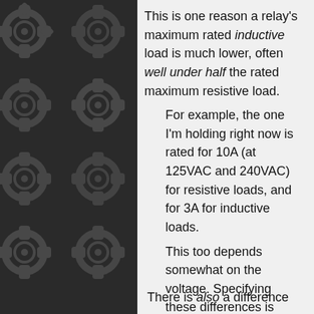[Figure (illustration): Dark background with repeating gear/cog pattern in dark grey tones, forming the left panel of the page.]
This is one reason a relay's maximum rated inductive load is much lower, often well under half the rated maximum resistive load.
For example, the one I'm holding right now is rated for 10A (at 125VAC and 240VAC) for resistive loads, and for 3A for inductive loads.
This too depends somewhat on the voltage. Specifying these differences is called 'derating
There is also a difference